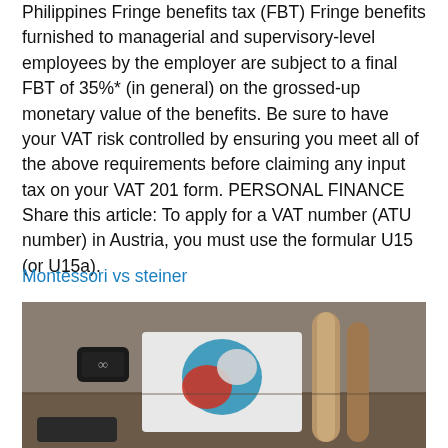Philippines Fringe benefits tax (FBT) Fringe benefits furnished to managerial and supervisory-level employees by the employer are subject to a final FBT of 35%* (in general) on the grossed-up monetary value of the benefits. Be sure to have your VAT risk controlled by ensuring you meet all of the above requirements before claiming any input tax on your VAT 201 form. PERSONAL FINANCE Share this article: To apply for a VAT number (ATU number) in Austria, you must use the formular U15 (or U15a).
Montessori vs steiner
[Figure (photo): Photo of a table with clothing items including a white t-shirt with colorful graphic design, a black smartwatch or device, brown paper/cardboard rolls, and other objects on a wooden surface.]